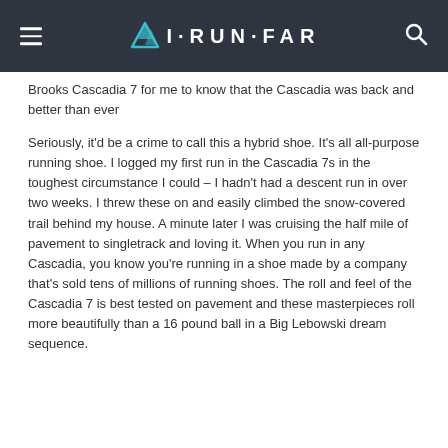I·RUN·FAR
Brooks Cascadia 7 for me to know that the Cascadia was back and better than ever
Seriously, it'd be a crime to call this a hybrid shoe. It's all all-purpose running shoe. I logged my first run in the Cascadia 7s in the toughest circumstance I could – I hadn't had a descent run in over two weeks. I threw these on and easily climbed the snow-covered trail behind my house. A minute later I was cruising the half mile of pavement to singletrack and loving it. When you run in any Cascadia, you know you're running in a shoe made by a company that's sold tens of millions of running shoes. The roll and feel of the Cascadia 7 is best tested on pavement and these masterpieces roll more beautifully than a 16 pound ball in a Big Lebowski dream sequence.